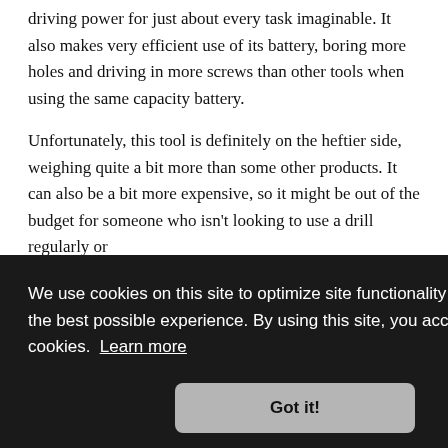driving power for just about every task imaginable. It also makes very efficient use of its battery, boring more holes and driving in more screws than other tools when using the same capacity battery.
Unfortunately, this tool is definitely on the heftier side, weighing quite a bit more than some other products. It can also be a bit more expensive, so it might be out of the budget for someone who isn't looking to use a drill regularly or [heavy-duty]
We use cookies on this site to optimize site functionality and give you the best possible experience. By using this site, you accept our use of cookies. Learn more
Got it!
[Figure (photo): Bottom strip showing a partial photo, dark background with some outdoor scene visible]